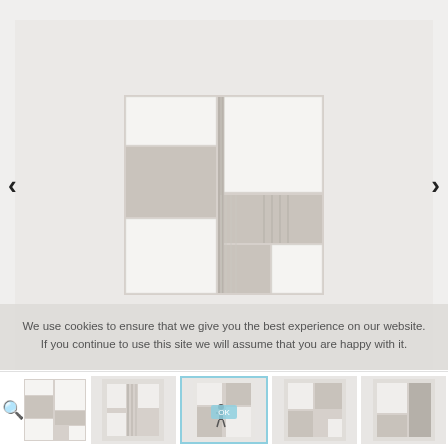[Figure (photo): Main viewer area showing an abstract artwork with geometric white and beige/tan panels arranged in a grid-like composition, displayed on a light grey gallery wall. Navigation arrows on left and right sides.]
We use cookies to ensure that we give you the best experience on our website. If you continue to use this site we will assume that you are happy with it.
[Figure (screenshot): Row of five thumbnail images showing different views of the same abstract artwork and gallery installation, with a search icon in the first thumbnail and the third thumbnail highlighted with a blue OK button overlay.]